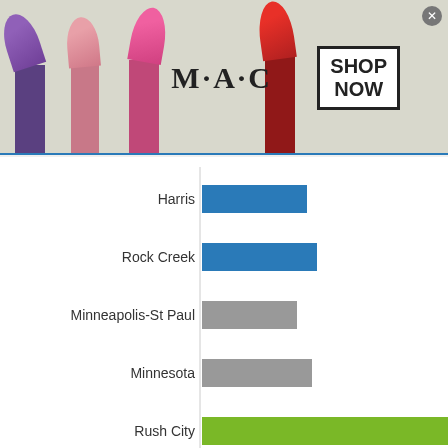[Figure (advertisement): MAC cosmetics advertisement showing lipsticks, MAC logo, and SHOP NOW button]
[Figure (bar-chart): Horizontal bar chart comparing locations]
[Figure (advertisement): ShoeMall advertisement showing sandals and SHOP NOW button]